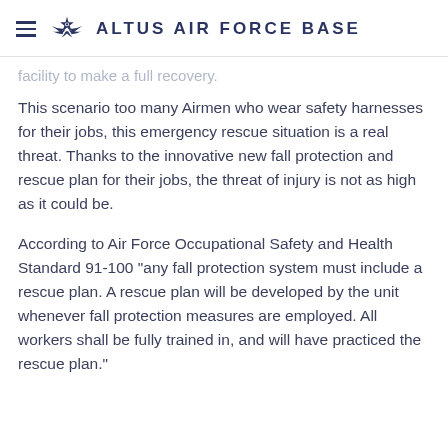ALTUS AIR FORCE BASE
facility to make a full recovery.
This scenario too many Airmen who wear safety harnesses for their jobs, this emergency rescue situation is a real threat. Thanks to the innovative new fall protection and rescue plan for their jobs, the threat of injury is not as high as it could be.
According to Air Force Occupational Safety and Health Standard 91-100 "any fall protection system must include a rescue plan. A rescue plan will be developed by the unit whenever fall protection measures are employed. All workers shall be fully trained in, and will have practiced the rescue plan."